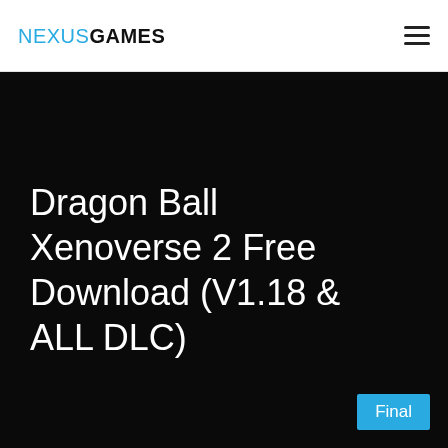NEXUSGAMES
[Figure (photo): Dark/black hero background image for Dragon Ball Xenoverse 2 game page]
Dragon Ball Xenoverse 2 Free Download (V1.18 & ALL DLC)
Final